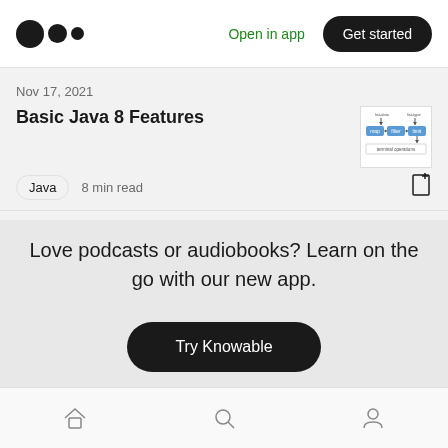Medium logo | Open in app | Get started
Nov 17, 2021
Basic Java 8 Features
Java  8 min read
Love podcasts or audiobooks? Learn on the go with our new app.
Try Knowable
Home | Search | Profile